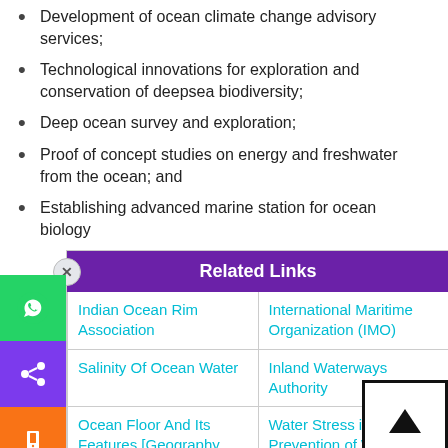Development of ocean climate change advisory services;
Technological innovations for exploration and conservation of deepsea biodiversity;
Deep ocean survey and exploration;
Proof of concept studies on energy and freshwater from the ocean; and
Establishing advanced marine station for ocean biology
| Related Links |  |
| --- | --- |
| Indian Ocean Rim Association | International Maritime Organization (IMO) |
| Salinity Of Ocean Water | Inland Waterways Authority |
| Ocean Floor And Its Features [Geography Notes For UPSC] | Water Stress in India & Prevention of Water Scarcity |